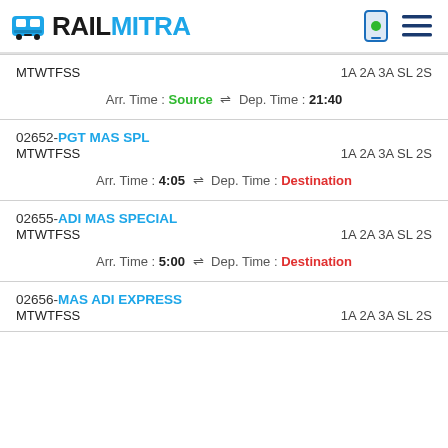RAILMITRA
MTWTFSS   1A 2A 3A SL 2S
Arr. Time : Source ⇌ Dep. Time : 21:40
02652-PGT MAS SPL
MTWTFSS   1A 2A 3A SL 2S
Arr. Time : 4:05 ⇌ Dep. Time : Destination
02655-ADI MAS SPECIAL
MTWTFSS   1A 2A 3A SL 2S
Arr. Time : 5:00 ⇌ Dep. Time : Destination
02656-MAS ADI EXPRESS
MTWTFSS   1A 2A 3A SL 2S